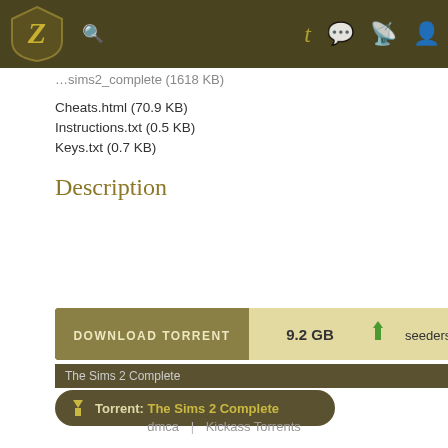Kickass Torrents navigation bar
Cheats.html (70.9 KB)
Instructions.txt (0.5 KB)
Keys.txt (0.7 KB)
Description
[Figure (other): Download torrent button bar showing 9.2 GB size and seeders:5]
The Sims 2 Complete
Torrent: The Sims 2 Complete
dmca | Kickass Torrents